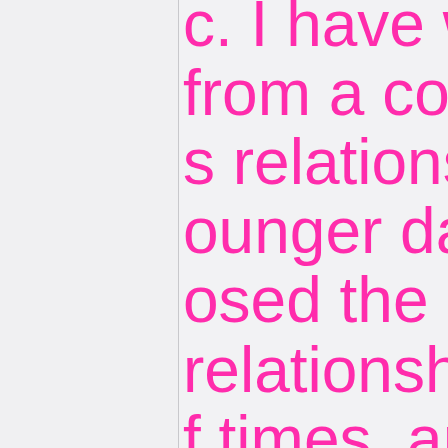c. I have w from a coup s relationship ounger days osed the do relationship f times, and well... the di r me with th